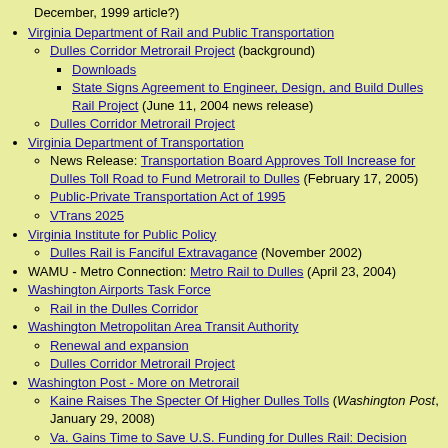December, 1999 article?)
Virginia Department of Rail and Public Transportation
Dulles Corridor Metrorail Project (background)
Downloads
State Signs Agreement to Engineer, Design, and Build Dulles Rail Project (June 11, 2004 news release)
Dulles Corridor Metrorail Project
Virginia Department of Transportation
News Release: Transportation Board Approves Toll Increase for Dulles Toll Road to Fund Metrorail to Dulles (February 17, 2005)
Public-Private Transportation Act of 1995
VTrans 2025
Virginia Institute for Public Policy
Dulles Rail is Fanciful Extravagance (November 2002)
WAMU - Metro Connection: Metro Rail to Dulles (April 23, 2004)
Washington Airports Task Force
Rail in the Dulles Corridor
Washington Metropolitan Area Transit Authority
Renewal and expansion
Dulles Corridor Metrorail Project
Washington Post - More on Metrorail
Kaine Raises The Specter Of Higher Dulles Tolls (Washington Post, January 29, 2008)
Va. Gains Time to Save U.S. Funding for Dulles Rail: Decision Encourages State Political Leaders (Washington Post, January 29, 2008)
Private Interest In Rail To Dulles: Without U.S. Funds, Partnership May Be Only Alternative (Washington Post, January 28, 2008)
Dulles Extension Yet Another Defeat For All Commuters